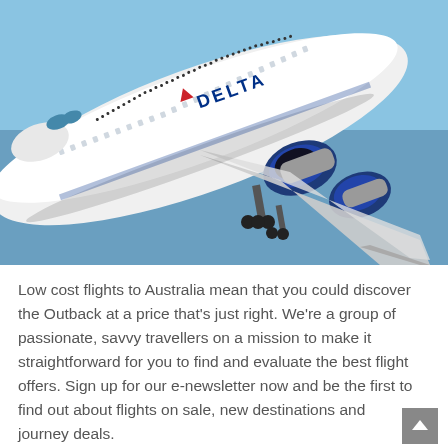[Figure (photo): A Delta Airlines Boeing 747 aircraft photographed from below during takeoff or landing, against a clear blue sky. The white fuselage shows the Delta logo and name clearly. Blue engine nacelles and landing gear are visible.]
Low cost flights to Australia mean that you could discover the Outback at a price that's just right. We're a group of passionate, savvy travellers on a mission to make it straightforward for you to find and evaluate the best flight offers. Sign up for our e-newsletter now and be the first to find out about flights on sale, new destinations and journey deals.